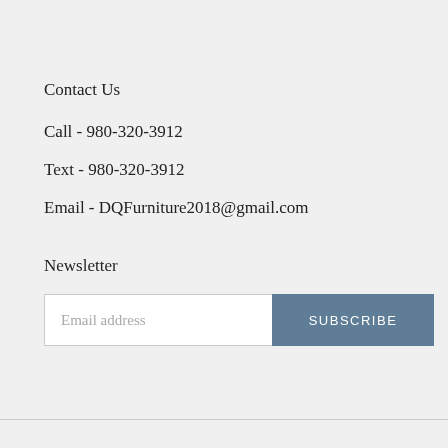Contact Us
Call - 980-320-3912
Text - 980-320-3912
Email - DQFurniture2018@gmail.com
Newsletter
Email address
SUBSCRIBE